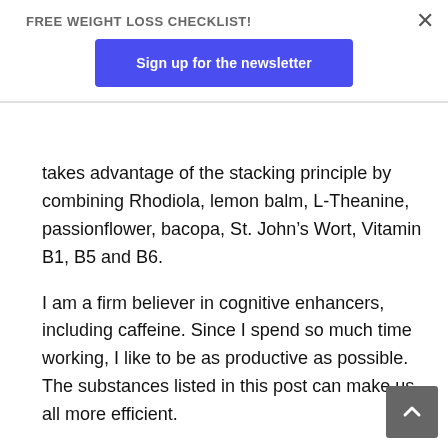FREE WEIGHT LOSS CHECKLIST!
Sign up for the newsletter
takes advantage of the stacking principle by combining Rhodiola, lemon balm, L-Theanine, passionflower, bacopa, St. John’s Wort, Vitamin B1, B5 and B6.
I am a firm believer in cognitive enhancers, including caffeine. Since I spend so much time working, I like to be as productive as possible. The substances listed in this post can make us all more efficient.